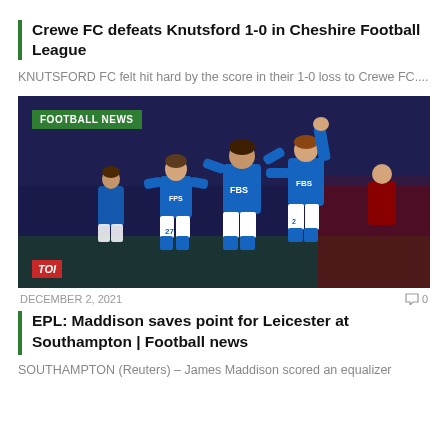Crewe FC defeats Knutsford 1-0 in Cheshire Football League
KNUTSFORD FC felt hit hard by the score in their 1-0 loss to Crewe FC....
[Figure (photo): Leicester City players in blue FBS-sponsored jerseys celebrating a goal on the pitch, with a 'FOOTBALL NEWS' badge overlay and TOI logo in the bottom left corner.]
DECEMBER 2, 2021  0
EPL: Maddison saves point for Leicester at Southampton | Football news
SOUTHAMPTON (Reuters) – James Maddison scored an equalizer